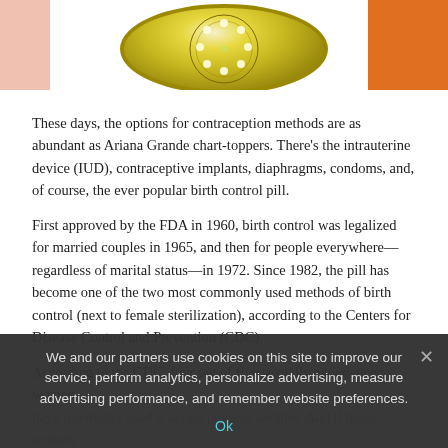[Figure (photo): Partial top image showing a birth control pill pack (circular dispenser with yellow/gold pills visible), a pink background on the left, and an orange object on the right.]
These days, the options for contraception methods are as abundant as Ariana Grande chart-toppers. There's the intrauterine device (IUD), contraceptive implants, diaphragms, condoms, and, of course, the ever popular birth control pill.
First approved by the FDA in 1960, birth control was legalized for married couples in 1965, and then for people everywhere—regardless of marital status—in 1972. Since 1982, the pill has become one of the two most commonly used methods of birth control (next to female sterilization), according to the Centers for Disease Control and Prevention (CDC).
According to the CDC, four out of five sexually experienced women have reportedly used it at one point or another. And if these women are...100...But what exactly is in the pill, and how does it work to prevent pregnancy? We connected with top experts to get the deets—well, answers to some of the most common, high-priority questions.
We and our partners use cookies on this site to improve our service, perform analytics, personalize advertising, measure advertising performance, and remember website preferences.